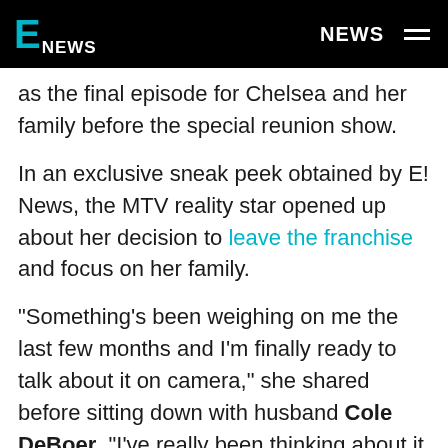E NEWS  NEWS
as the final episode for Chelsea and her family before the special reunion show.
In an exclusive sneak peek obtained by E! News, the MTV reality star opened up about her decision to leave the franchise and focus on her family.
"Something's been weighing on me the last few months and I'm finally ready to talk about it on camera," she shared before sitting down with husband Cole DeBoer. "I've really been thinking about it lately and I just feel like I'm questioning if my time on the show Teen Mom is coming to an end. Thinking about it, it's definitely not an easy decision.